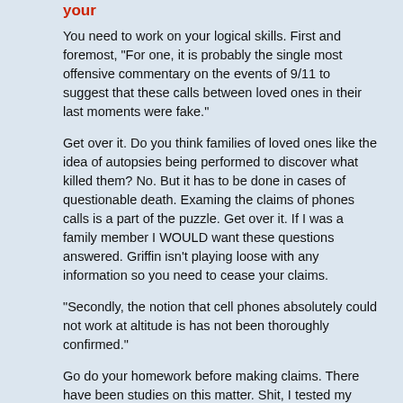your
You need to work on your logical skills. First and foremost, "For one, it is probably the single most offensive commentary on the events of 9/11 to suggest that these calls between loved ones in their last moments were fake."
Get over it. Do you think families of loved ones like the idea of autopsies being performed to discover what killed them? No. But it has to be done in cases of questionable death. Examing the claims of phones calls is a part of the puzzle. Get over it. If I was a family member I WOULD want these questions answered. Griffin isn't playing loose with any information so you need to cease your claims.
"Secondly, the notion that cell phones absolutely could not work at altitude is has not been thoroughly confirmed."
Go do your homework before making claims. There have been studies on this matter. Shit, I tested my own cell phone service flying through L.A., Memphis, DC, Baltimore, and Sacramento. The service bars were nil in all of